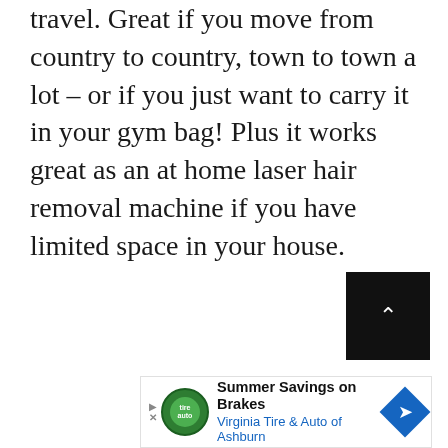travel. Great if you move from country to country, town to town a lot – or if you just want to carry it in your gym bag! Plus it works great as an at home laser hair removal machine if you have limited space in your house.
[Figure (other): Black scroll-to-top button with white upward caret arrow, positioned bottom right]
[Figure (other): Advertisement banner: Summer Savings on Brakes - Virginia Tire & Auto of Ashburn, with green auto logo and blue navigation icon]